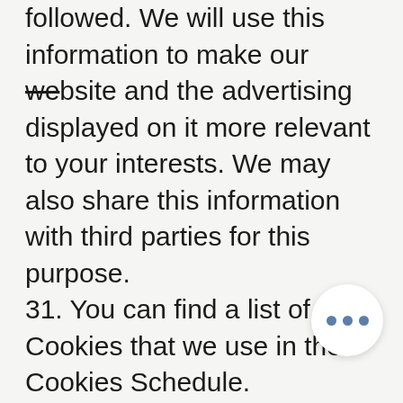followed. We will use this information to make our website and the advertising displayed on it more relevant to your interests. We may also share this information with third parties for this purpose. 31. You can find a list of Cookies that we use in the Cookies Schedule. 32. You can choose to enable or disable Cookies in your internet browser. By default, most internet browsers accept Cookies but this can be changed. For further details, please consult the help menu in your internet browser. 33. You can choose to delete Cookies at any time; however you may lose any information that